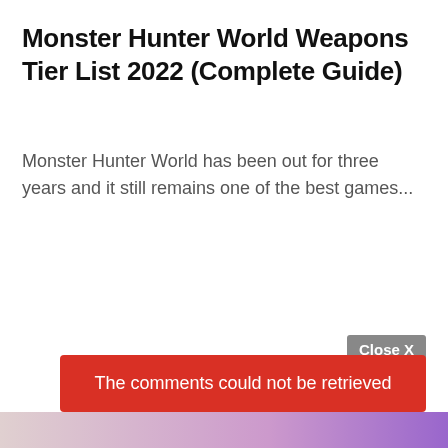Monster Hunter World Weapons Tier List 2022 (Complete Guide)
Monster Hunter World has been out for three years and it still remains one of the best games...
Close X
The comments could not be retrieved